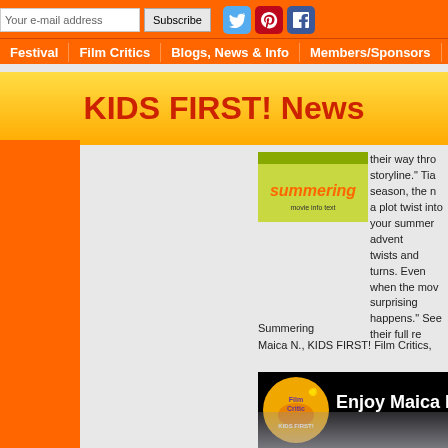Your e-mail address | Subscribe | Festival | Film Critics | Blogs, News & Info | Members/Sponsors | Contact Us
KIDS FIRST! News
[Figure (photo): Book cover for Summering]
their way through the storyline." Tia season, the n a plot twist into your summer advent twists and turns. Even when the mov surprising happens." See their full re
Summering
Maica N., KIDS FIRST! Film Critics,
[Figure (screenshot): Video thumbnail with KIDS FIRST! logo and text 'Enjoy Maica N.'s']